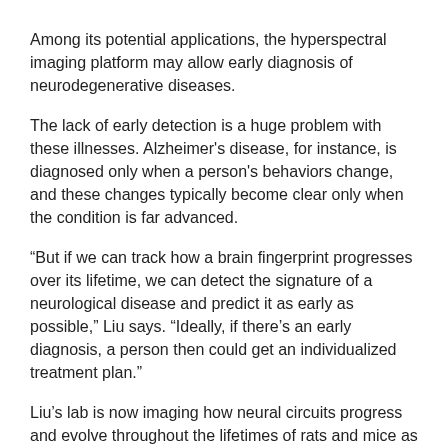Among its potential applications, the hyperspectral imaging platform may allow early diagnosis of neurodegenerative diseases.
The lack of early detection is a huge problem with these illnesses. Alzheimer's disease, for instance, is diagnosed only when a person's behaviors change, and these changes typically become clear only when the condition is far advanced.
“But if we can track how a brain fingerprint progresses over its lifetime, we can detect the signature of a neurological disease and predict it as early as possible,” Liu says. “Ideally, if there’s an early diagnosis, a person then could get an individualized treatment plan.”
Liu’s lab is now imaging how neural circuits progress and evolve throughout the lifetimes of rats and mice as animal models for human neurodegenerative diseases, and comparing the results with those from healthy control animals. This research method offers the potential not only to provide early diagnoses but also to assess the effect of treatments given at different stages of the disease, he says.
Liu’s lab also studies inflammation in the brain and the body,